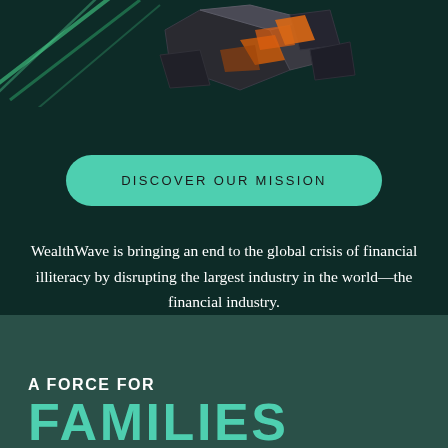[Figure (illustration): 3D abstract dark metallic and orange geometric shapes on a dark teal background with green diagonal lines on the left side]
DISCOVER OUR MISSION
WealthWave is bringing an end to the global crisis of financial illiteracy by disrupting the largest industry in the world—the financial industry.
A FORCE FOR
FAMILIES